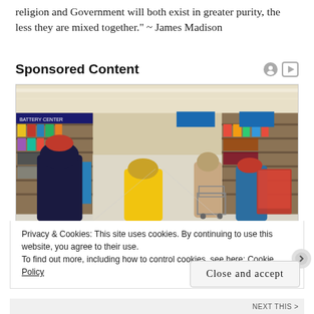religion and Government will both exist in greater purity, the less they are mixed together." ~ James Madison
Sponsored Content
[Figure (photo): Interior of a large retail store (Walmart-style) with shoppers pushing carts down a wide aisle, colorful product displays on both sides, fluorescent lighting overhead, and blue department signs hanging from the ceiling.]
Privacy & Cookies: This site uses cookies. By continuing to use this website, you agree to their use.
To find out more, including how to control cookies, see here: Cookie Policy
Close and accept